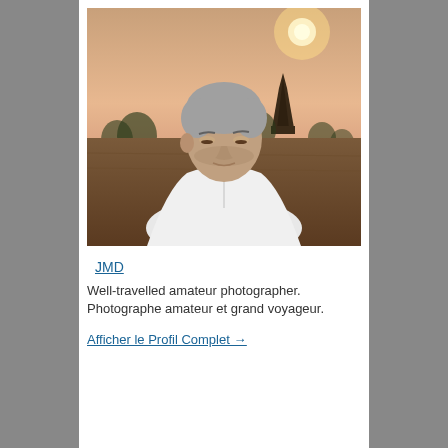[Figure (photo): Portrait of a middle-aged man with grey hair wearing a white polo shirt, standing outdoors at sunset with a temple silhouette and trees in the background, Bagan Myanmar style landscape.]
JMD
Well-travelled amateur photographer. Photographe amateur et grand voyageur.
Afficher le Profil Complet →